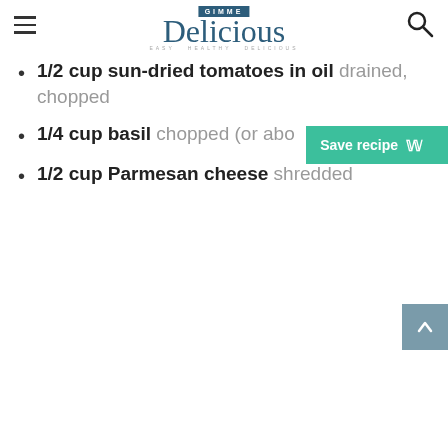Gimme Delicious - EASY HEALTHY DELICIOUS
1/2 cup sun-dried tomatoes in oil drained, chopped
1/4 cup basil chopped (or abo...
1/2 cup Parmesan cheese shredded